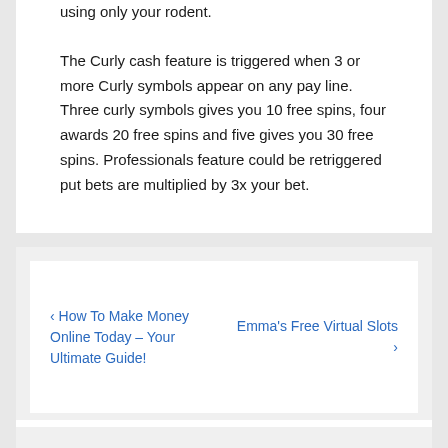using only your rodent.
The Curly cash feature is triggered when 3 or more Curly symbols appear on any pay line. Three curly symbols gives you 10 free spins, four awards 20 free spins and five gives you 30 free spins. Professionals feature could be retriggered put bets are multiplied by 3x your bet.
‹ How To Make Money Online Today – Your Ultimate Guide!
Emma's Free Virtual Slots ›